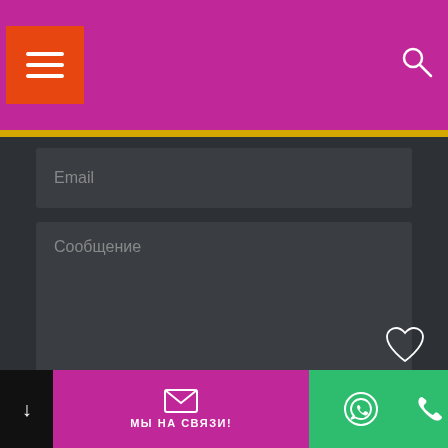[Figure (screenshot): Navigation header bar with magenta/pink background, orange hamburger menu button on left, and white search icon on right]
Email
Сообщение
ОТПРАВИТЬ
[Figure (other): Heart/like icon outline in bottom right area]
МЫ НА СВЯЗИ!